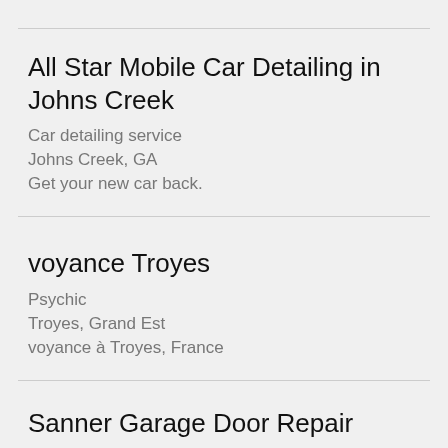All Star Mobile Car Detailing in Johns Creek
Car detailing service
Johns Creek, GA
Get your new car back.
voyance Troyes
Psychic
Troyes, Grand Est
voyance à Troyes, France
Sanner Garage Door Repair